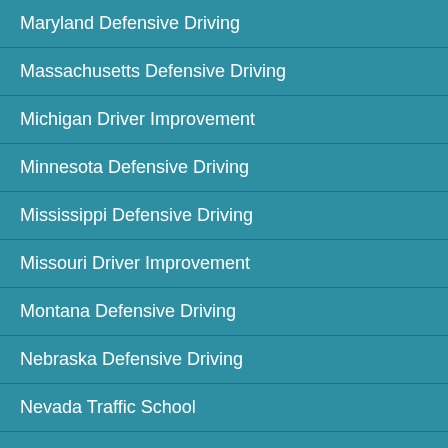Maryland Defensive Driving
Massachusetts Defensive Driving
Michigan Driver Improvement
Minnesota Defensive Driving
Mississippi Defensive Driving
Missouri Driver Improvement
Montana Defensive Driving
Nebraska Defensive Driving
Nevada Traffic School
New Hamphire Defensive Driving
New Jersey Defensive Driving